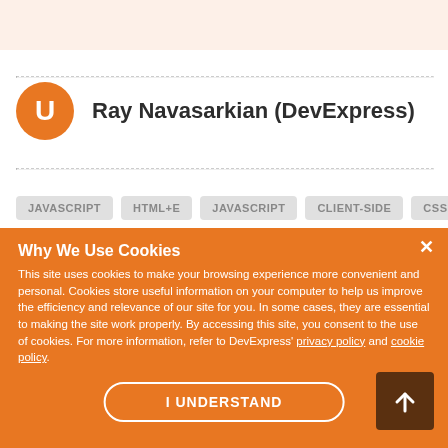[Figure (screenshot): Top peach/cream banner background area]
Ray Navasarkian (DevExpress)
[Figure (screenshot): Tag buttons row partially visible: JAVASCRIPT, HTML+E, JAVASCRIPT, CLIENT-SIDE, CSS]
Why We Use Cookies
This site uses cookies to make your browsing experience more convenient and personal. Cookies store useful information on your computer to help us improve the efficiency and relevance of our site for you. In some cases, they are essential to making the site work properly. By accessing this site, you consent to the use of cookies. For more information, refer to DevExpress' privacy policy and cookie policy.
I UNDERSTAND
Mobile UI